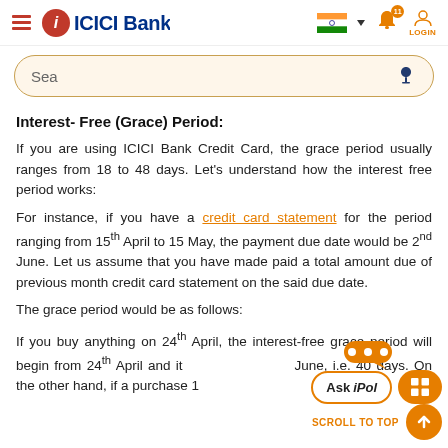[Figure (screenshot): ICICI Bank website navigation bar with hamburger menu, ICICI Bank logo, Indian flag with dropdown, notification bell with count 11, and Login icon]
[Figure (screenshot): Search bar with placeholder text 'Sea' and microphone icon]
Interest- Free (Grace) Period:
If you are using ICICI Bank Credit Card, the grace period usually ranges from 18 to 48 days. Let's understand how the interest free period works:
For instance, if you have a credit card statement for the period ranging from 15th April to 15 May, the payment due date would be 2nd June. Let us assume that you have made paid a total amount due of previous month credit card statement on the said due date.
The grace period would be as follows:
If you buy anything on 24th April, the interest-free grace period will begin from 24th April and it June, i.e. 40 days. On the other hand, if a purchase 1